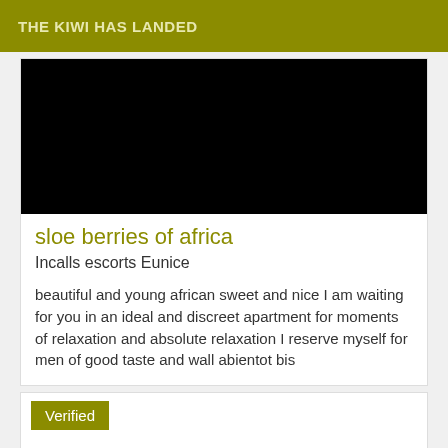THE KIWI HAS LANDED
[Figure (photo): Black rectangle representing a photo placeholder]
sloe berries of africa
Incalls escorts Eunice
beautiful and young african sweet and nice I am waiting for you in an ideal and discreet apartment for moments of relaxation and absolute relaxation I reserve myself for men of good taste and wall abientot bis
Verified